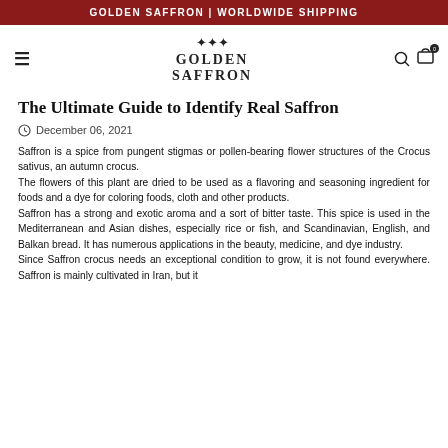GOLDEN SAFFRON | WORLDWIDE SHIPPING
[Figure (logo): Golden Saffron logo with crown icon and text GOLDEN SAFFRON in serif font]
The Ultimate Guide to Identify Real Saffron
December 06, 2021
Saffron is a spice from pungent stigmas or pollen-bearing flower structures of the Crocus sativus, an autumn crocus.
The flowers of this plant are dried to be used as a flavoring and seasoning ingredient for foods and a dye for coloring foods, cloth and other products.
Saffron has a strong and exotic aroma and a sort of bitter taste. This spice is used in the Mediterranean and Asian dishes, especially rice or fish, and Scandinavian, English, and Balkan bread. It has numerous applications in the beauty, medicine, and dye industry.
Since Saffron crocus needs an exceptional condition to grow, it is not found everywhere. Saffron is mainly cultivated in Iran, but it